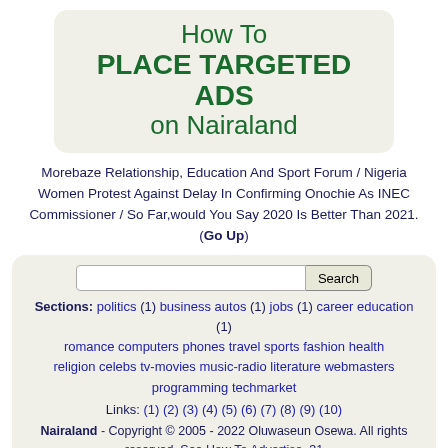How To PLACE TARGETED ADS on Nairaland
Morebaze Relationship, Education And Sport Forum / Nigeria Women Protest Against Delay In Confirming Onochie As INEC Commissioner / So Far,would You Say 2020 Is Better Than 2021. (Go Up)
Search Sections: politics (1) business autos (1) jobs (1) career education (1) romance computers phones travel sports fashion health religion celebs tv-movies music-radio literature webmasters programming techmarket Links: (1) (2) (3) (4) (5) (6) (7) (8) (9) (10) Nairaland - Copyright © 2005 - 2022 Oluwaseun Osewa. All rights reserved. See How To Advertise. 31 Disclaimer: Every Nairaland member is solely responsible for anything that he/she posts or uploads on Nairaland.